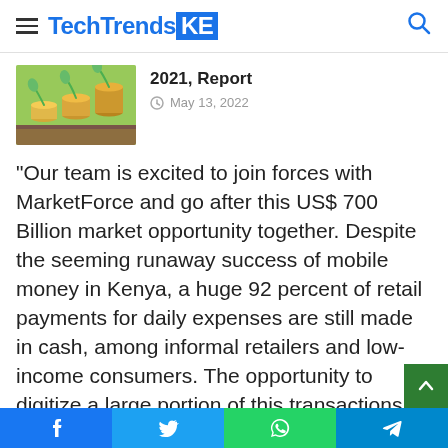TechTrendsKE
[Figure (photo): Three stacks of coins with small green plants growing on top, representing financial growth, against a blurred green background.]
2021, Report
May 13, 2022
“Our team is excited to join forces with MarketForce and go after this US$ 700 Billion market opportunity together. Despite the seeming runaway success of mobile money in Kenya, a huge 92 percent of retail payments for daily expenses are still made in cash, among informal retailers and low-income consumers. The opportunity to digitize a large portion of this transactions and extend working capital to these retailers is also largely untapped